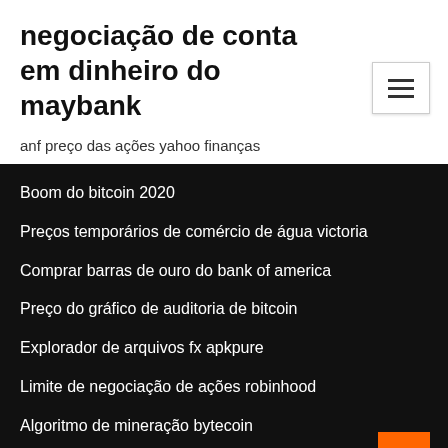negociação de conta em dinheiro do maybank
anf preço das ações yahoo finanças
Boom do bitcoin 2020
Preços temporários de comércio de água victoria
Comprar barras de ouro do bank of america
Preço do gráfico de auditoria de bitcoin
Explorador de arquivos fx apkpure
Limite de negociação de ações robinhood
Algoritmo de mineração bytecoin
Qtum coinmarket